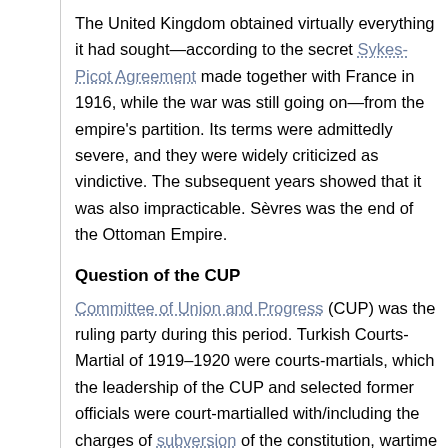The United Kingdom obtained virtually everything it had sought—according to the secret Sykes-Picot Agreement made together with France in 1916, while the war was still going on—from the empire's partition. Its terms were admittedly severe, and they were widely criticized as vindictive. The subsequent years showed that it was also impracticable. Sèvres was the end of the Ottoman Empire.
Question of the CUP
Committee of Union and Progress (CUP) was the ruling party during this period. Turkish Courts-Martial of 1919–1920 were courts-martials, which the leadership of the CUP and selected former officials were court-martialled with/including the charges of subversion of the constitution, wartime profiteering, and the massacres of both Greeks and